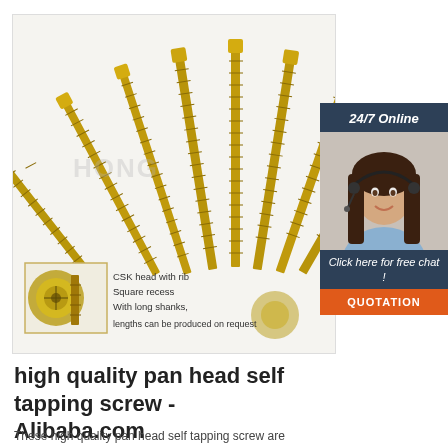[Figure (photo): Multiple gold/yellow zinc-plated CSK head wood screws with ribs, arranged in a fan pattern on a white background. Inset shows close-up of screw head. Labels read: CSK head with rib, Square recess, With long shanks, lengths can be produced on request. Overlay chat panel shows '24/7 Online' with a woman wearing a headset, 'Click here for free chat!' and an orange QUOTATION button.]
high quality pan head self tapping screw - Alibaba.com
These high quality pan head self tapping screw are